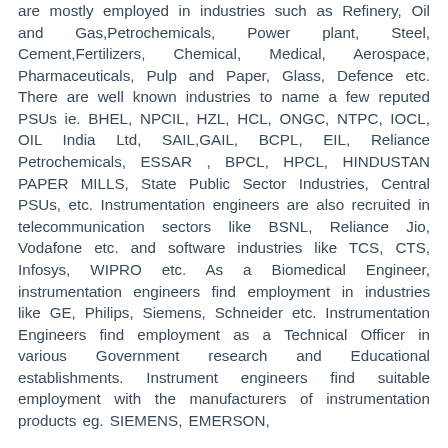are mostly employed in industries such as Refinery, Oil and Gas,Petrochemicals, Power plant, Steel, Cement,Fertilizers, Chemical, Medical, Aerospace, Pharmaceuticals, Pulp and Paper, Glass, Defence etc. There are well known industries to name a few reputed PSUs ie. BHEL, NPCIL, HZL, HCL, ONGC, NTPC, IOCL, OIL India Ltd, SAIL,GAIL, BCPL, EIL, Reliance Petrochemicals, ESSAR , BPCL, HPCL, HINDUSTAN PAPER MILLS, State Public Sector Industries, Central PSUs, etc. Instrumentation engineers are also recruited in telecommunication sectors like BSNL, Reliance Jio, Vodafone etc. and software industries like TCS, CTS, Infosys, WIPRO etc. As a Biomedical Engineer, instrumentation engineers find employment in industries like GE, Philips, Siemens, Schneider etc. Instrumentation Engineers find employment as a Technical Officer in various Government research and Educational establishments. Instrument engineers find suitable employment with the manufacturers of instrumentation products eg. SIEMENS, EMERSON,